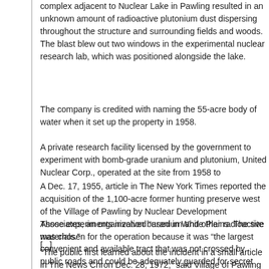complex adjacent to Nuclear Lake in Pawling resulted in an unknown amount of radioactive plutonium dust dispersing throughout the structure and surrounding fields and woods. The blast blew out two windows in the experimental nuclear research lab, which was positioned alongside the lake.
The company is credited with naming the 55-acre body of water when it set up the property in 1958.
A private research facility licensed by the government to experiment with bomb-grade uranium and plutonium, United Nuclear Corp., operated at the site from 1958 to
A Dec. 17, 1955, article in The New York Times reported the acquisition of the 1,100-acre former hunting preserve west of the Village of Pawling by Nuclear Development Associates, an organization based in White Plains. The site was chosen for the operation because it was “the largest convenient and available tract that was not crossed by public roads and could be adequately guarded for secret experiments.
Those experiments involved “uranium and other radioactive materials.”
[...]
“The public first learned about the incident in a small article in The News Chron Dec. 28, 1972,” said Village of Pawling Historian Drew Nicholson. “It reported that the explosion at the nuclear fuel lab injured a technician and released a low level of radioactive contamination into the building where it occurred.